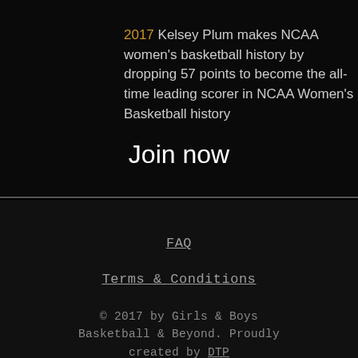2017 Kelsey Plum makes NCAA women's basketball history by dropping 57 points to become the all-time leading scorer in NCAA Women's Basketball history
Join now
FAQ
Terms & Conditions
© 2017 by Girls & Boys Basketball & Beyond. Proudly created by DTP